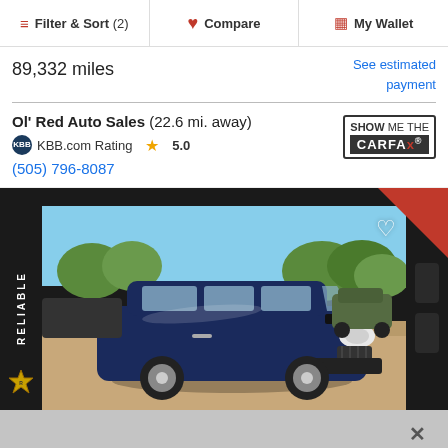Filter & Sort (2)   Compare   My Wallet
89,332 miles
See estimated payment
Ol' Red Auto Sales (22.6 mi. away)
KBB.com Rating ★ 5.0
(505) 796-8087
[Figure (screenshot): SHOW ME THE CARFAX logo badge]
[Figure (photo): Smartphone frame showing a blue Honda Odyssey minivan parked outdoors, with a red ribbon corner, heart icon, RELIABLE branding on left side, and a close X button at bottom. CALL NOW! text at very bottom.]